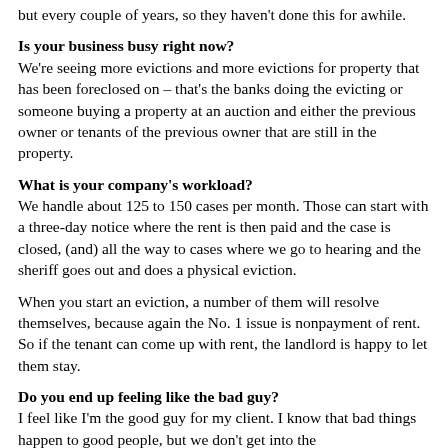but every couple of years, so they haven't done this for awhile.
Is your business busy right now?
We're seeing more evictions and more evictions for property that has been foreclosed on – that's the banks doing the evicting or someone buying a property at an auction and either the previous owner or tenants of the previous owner that are still in the property.
What is your company's workload?
We handle about 125 to 150 cases per month. Those can start with a three-day notice where the rent is then paid and the case is closed, (and) all the way to cases where we go to hearing and the sheriff goes out and does a physical eviction.
When you start an eviction, a number of them will resolve themselves, because again the No. 1 issue is nonpayment of rent. So if the tenant can come up with rent, the landlord is happy to let them stay.
Do you end up feeling like the bad guy?
I feel like I'm the good guy for my client. I know that bad things happen to good people, but we don't get into the